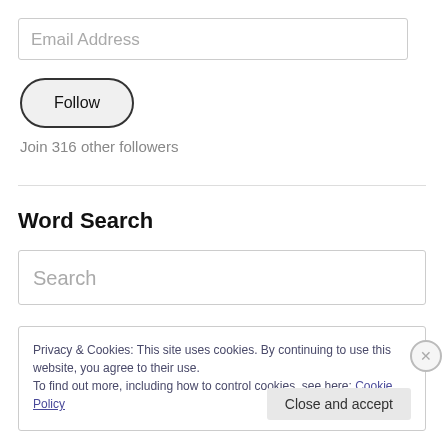Email Address
Follow
Join 316 other followers
Word Search
Search
Privacy & Cookies: This site uses cookies. By continuing to use this website, you agree to their use. To find out more, including how to control cookies, see here: Cookie Policy
Close and accept